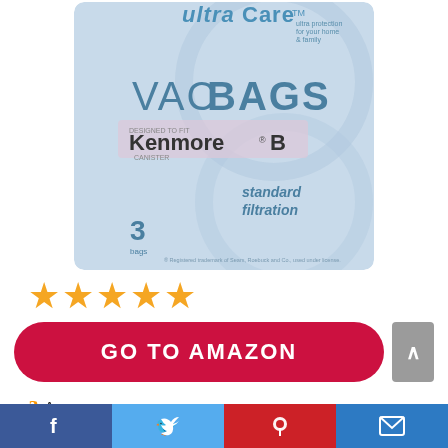[Figure (photo): Product image of UltraCare VAC BAGS designed to fit Kenmore B, standard filtration, 3 bags, light blue packaging]
[Figure (other): 4 gold/orange star rating]
[Figure (other): Red rounded 'GO TO AMAZON' button with gray scroll-to-top arrow button]
Amazon.com
Last update was on: September 5, 2022 12:28 am
[Figure (other): Social media share bar with Facebook, Twitter, Pinterest, and Email icons]